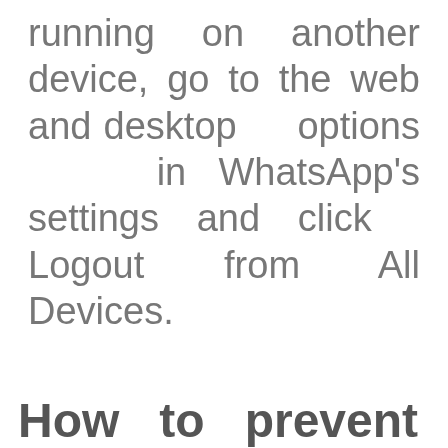running on another device, go to the web and desktop options in WhatsApp's settings and click Logout from All Devices.
How to prevent